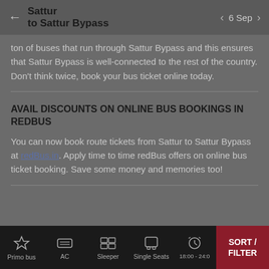← Sattur to Sattur Bypass   < 6 Sep >
ton of buses that run through Sattur Bypass and this ensures that Sattur Bypass is well-connected to the rest of the country. Don't think twice, book your bus ticket online today.
AVAIL DISCOUNTS ON ONLINE BUS BOOKINGS IN REDBUS
You can now book route tickets from Sattur to Sattur Bypass at redBus.in. Apply time to time redBus offers on online bus ticket booking. Save some money and memories too!
Primo bus   AC   Sleeper   Single Seats   18:00 - 24:00   SORT / FILTER